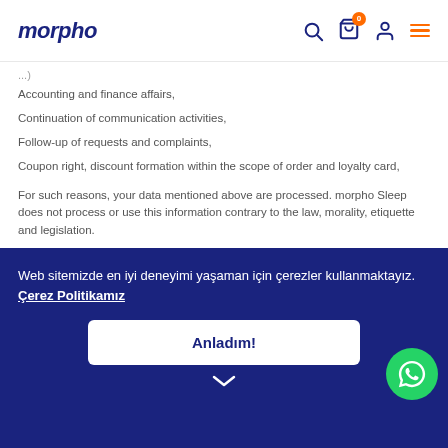morpho
...
Accounting and finance affairs,
Continuation of communication activities,
Follow-up of requests and complaints,
Coupon right, discount formation within the scope of order and loyalty card,
For such reasons, your data mentioned above are processed. morpho Sleep does not process or use this information contrary to the law, morality, etiquette and legislation.
Your Personal Data, within the scope of the above-mentioned purposes, to real and legal persons permitted in ...d in ...of administrative and technical measures arising from the law
Web sitemizde en iyi deneyimi yaşaman için çerezler kullanmaktayız. Çerez Politikamız
Anladım!